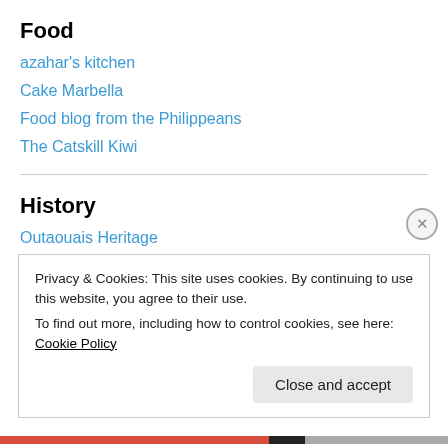Food
azahar's kitchen
Cake Marbella
Food blog from the Philippeans
The Catskill Kiwi
History
Outaouais Heritage
Privacy & Cookies: This site uses cookies. By continuing to use this website, you agree to their use.
To find out more, including how to control cookies, see here: Cookie Policy
Close and accept